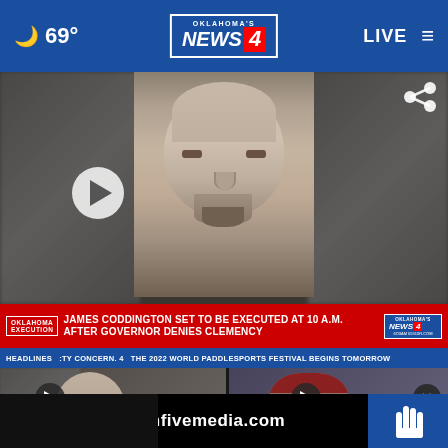69° Oklahoma's News 4 LIVE
[Figure (screenshot): News broadcast screenshot showing a mugshot of James Coddington with breaking news bar reading: JAMES CODDINGTON SET TO BE EXECUTED AT 10 A.M. AFTER GOVERNOR DENIES CLEMENCY. Oklahoma's News 4 logo visible. Ticker: HEADLINES CITY CONCERN. 4 THE 2022 WORLD PADDLESPORTS FESTIVAL BEGINS TOMORROW]
JAMES CODDINGTON SET TO BE EXECUTED AT 10 A.M. AFTER GOVERNOR DENIES CLEMENCY
HEADLINES  :TY CONCERN. 4  THE 2022 WORLD PADDLESPORTS FESTIVAL BEGINS TOMORROW
[Figure (screenshot): Thumbnail of man (execution story), play button overlay, label: Exec row, time: 28 mins ago]
[Figure (screenshot): Thumbnail of person in red cap, play button overlay, close button, time: 9 hours ago, label: Chicka fined]
highfivemedia.com